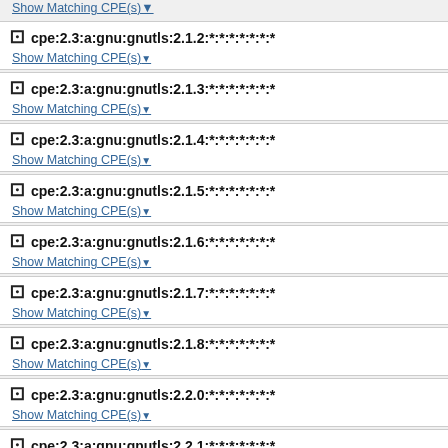Show Matching CPE(s)
cpe:2.3:a:gnu:gnutls:2.1.2:*:*:*:*:*:*:*
Show Matching CPE(s)
cpe:2.3:a:gnu:gnutls:2.1.3:*:*:*:*:*:*:*
Show Matching CPE(s)
cpe:2.3:a:gnu:gnutls:2.1.4:*:*:*:*:*:*:*
Show Matching CPE(s)
cpe:2.3:a:gnu:gnutls:2.1.5:*:*:*:*:*:*:*
Show Matching CPE(s)
cpe:2.3:a:gnu:gnutls:2.1.6:*:*:*:*:*:*:*
Show Matching CPE(s)
cpe:2.3:a:gnu:gnutls:2.1.7:*:*:*:*:*:*:*
Show Matching CPE(s)
cpe:2.3:a:gnu:gnutls:2.1.8:*:*:*:*:*:*:*
Show Matching CPE(s)
cpe:2.3:a:gnu:gnutls:2.2.0:*:*:*:*:*:*:*
Show Matching CPE(s)
cpe:2.3:a:gnu:gnutls:2.2.1:*:*:*:*:*:*:*